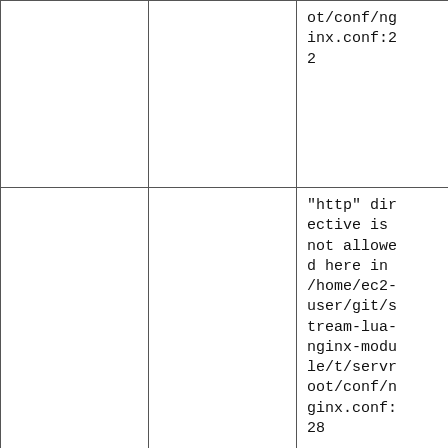|  |  | ot/conf/nginx.conf:22 |
| 132-lua-blocks.t | nginx: [emerg] | "http" directive is not allowed here in /home/ec2-user/git/stream-lua-nginx-module/t/servroot/conf/nginx.conf:28 |
| 132-lua- | nginx: [em | Lua code block missing the closing long bracket "]=]" in /home/ec2-user/git/... |